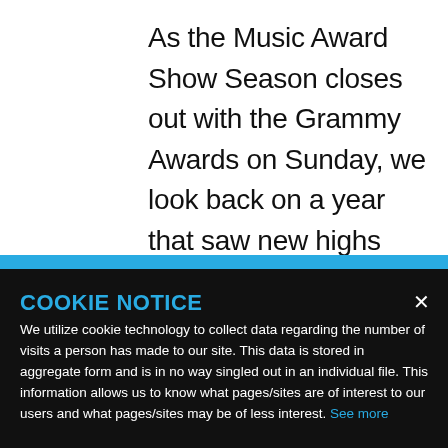As the Music Award Show Season closes out with the Grammy Awards on Sunday, we look back on a year that saw new highs and lows in the
COOKIE NOTICE
We utilize cookie technology to collect data regarding the number of visits a person has made to our site. This data is stored in aggregate form and is in no way singled out in an individual file. This information allows us to know what pages/sites are of interest to our users and what pages/sites may be of less interest. See more